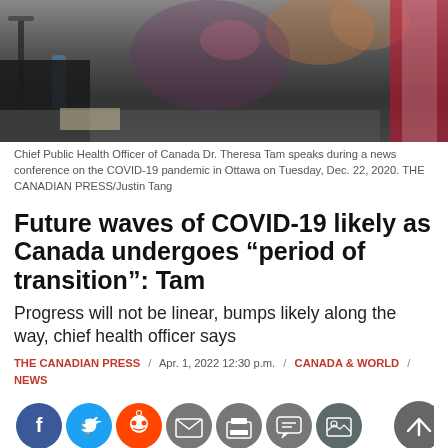[Figure (photo): Chief Public Health Officer of Canada Dr. Theresa Tam at a news conference podium, with Canadian flag visible on the right, Ottawa, Dec. 22, 2020.]
Chief Public Health Officer of Canada Dr. Theresa Tam speaks during a news conference on the COVID-19 pandemic in Ottawa on Tuesday, Dec. 22, 2020. THE CANADIAN PRESS/Justin Tang
Future waves of COVID-19 likely as Canada undergoes “period of transition”: Tam
Progress will not be linear, bumps likely along the way, chief health officer says
THE CANADIAN PRESS / Apr. 1, 2022 12:30 p.m. / CANADA & WORLD / NEWS
[Figure (infographic): Social sharing buttons: Facebook, Twitter, Reddit, Email, Print, Comment, Photo. Back-to-top button on right.]
Canada’s chief public health officer warned Friday that